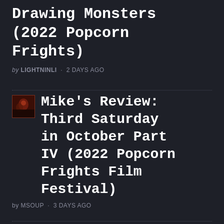Drawing Monsters (2022 Popcorn Frights)
by LIGHTNINLI · 2 DAYS AGO
[Figure (photo): Small thumbnail image of a horror film scene with dark red tones]
Mike's Review: Third Saturday in October Part IV (2022 Popcorn Frights Film Festival)
by MSOUP · 3 DAYS AGO